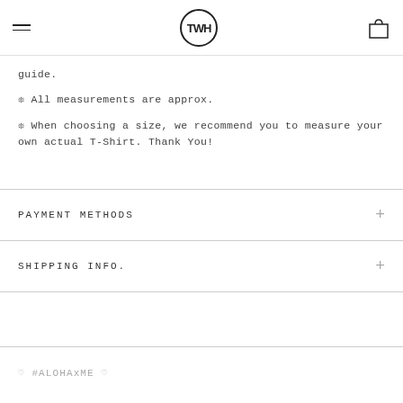TWH logo, hamburger menu, bag icon
guide.
❊ All measurements are approx.
❊ When choosing a size, we recommend you to measure your own actual T-Shirt. Thank You!
PAYMENT METHODS
SHIPPING INFO.
♡ #ALOHAxME ♡